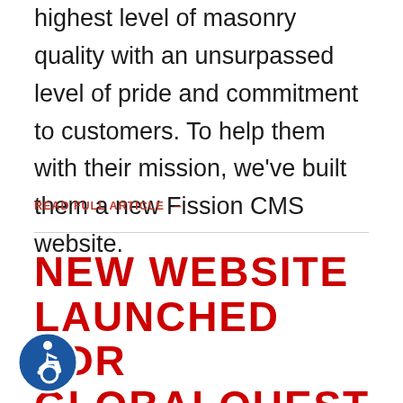highest level of masonry quality with an unsurpassed level of pride and commitment to customers. To help them with their mission, we've built them a new Fission CMS website.
READ FULL ARTICLE →
NEW WEBSITE LAUNCHED FOR GLOBALQUEST SOLUTIONS